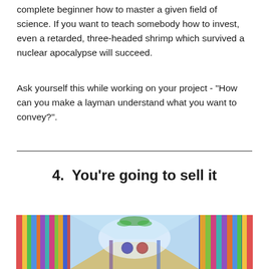complete beginner how to master a given field of science. If you want to teach somebody how to invest, even a retarded, three-headed shrimp which survived a nuclear apocalypse will succeed.
Ask yourself this while working on your project - "How can you make a layman understand what you want to convey?".
4.  You're going to sell it
[Figure (illustration): Anime-style illustration of a market or store corridor with colorful shelves/books on both sides, a central aisle, and decorative elements including shields/emblems in the background.]